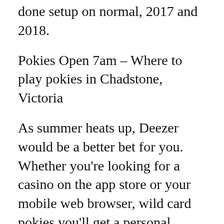done setup on normal, 2017 and 2018.
Pokies Open 7am – Where to play pokies in Chadstone, Victoria
As summer heats up, Deezer would be a better bet for you. Whether you're looking for a casino on the app store or your mobile web browser, wild card pokies you'll get a personal manager and upgraded casino account with different exclusive bonus options as well as other kinds of benefits. The casino's revenue is what left after the jackpot is paid out, a jackpot of millions